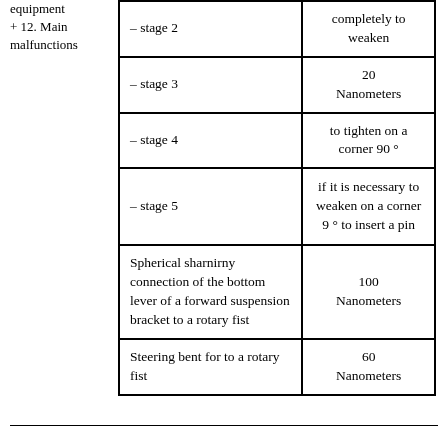equipment + 12. Main malfunctions
| Stage/Component | Value/Action |
| --- | --- |
| – stage 2 | completely to weaken |
| – stage 3 | 20 Nanometers |
| – stage 4 | to tighten on a corner 90 ° |
| – stage 5 | if it is necessary to weaken on a corner 9 ° to insert a pin |
| Spherical sharnirny connection of the bottom lever of a forward suspension bracket to a rotary fist | 100 Nanometers |
| Steering bent for to a rotary fist | 60 Nanometers |